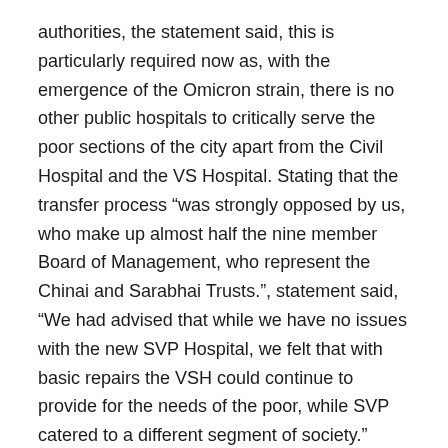authorities, the statement said, this is particularly required now as, with the emergence of the Omicron strain, there is no other public hospitals to critically serve the poor sections of the city apart from the Civil Hospital and the VS Hospital. Stating that the transfer process “was strongly opposed by us, who make up almost half the nine member Board of Management, who represent the Chinai and Sarabhai Trusts.”, statement said, “We had advised that while we have no issues with the new SVP Hospital, we felt that with basic repairs the VSH could continue to provide for the needs of the poor, while SVP catered to a different segment of society.”
“The matter has been contested since 2012 and is currently pending before the Gujarat High Court”, the statement said, adding, “During the past two years of the Covid pandemic, like all other administrations across the country, the Ahmedabad